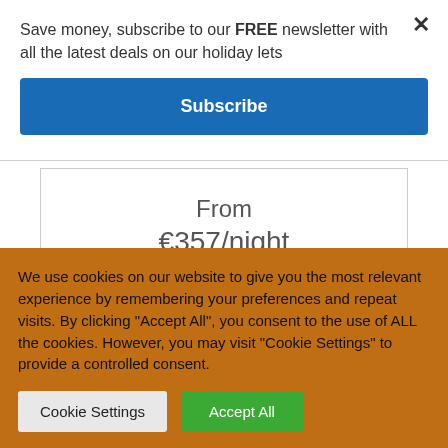Save money, subscribe to our FREE newsletter with all the latest deals on our holiday lets
Subscribe
From
€357/night
High Season
We use cookies on our website to give you the most relevant experience by remembering your preferences and repeat visits. By clicking "Accept All", you consent to the use of ALL the cookies. However, you may visit "Cookie Settings" to provide a controlled consent.
Cookie Settings
Accept All